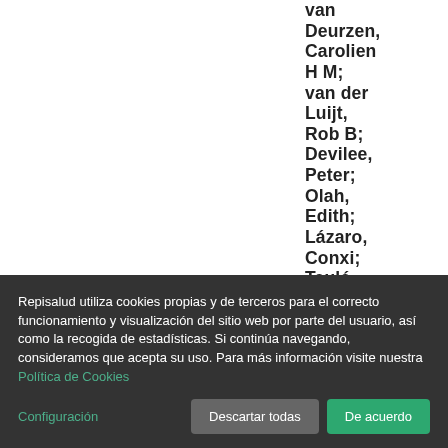van Deurzen, Carolien H M; van der Luijt, Rob B; Devilee, Peter; Olah, Edith; Lázaro, Conxi; Teulé,
Repisalud utiliza cookies propias y de terceros para el correcto funcionamiento y visualización del sitio web por parte del usuario, así como la recogida de estadísticas. Si continúa navegando, consideramos que acepta su uso. Para más información visite nuestra Política de Cookies